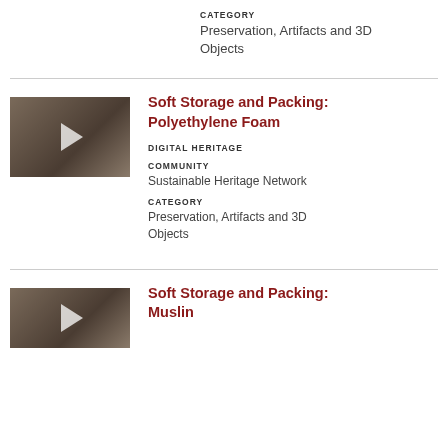CATEGORY
Preservation, Artifacts and 3D Objects
[Figure (screenshot): Video thumbnail with play button for Soft Storage and Packing: Polyethylene Foam]
Soft Storage and Packing: Polyethylene Foam
DIGITAL HERITAGE
COMMUNITY
Sustainable Heritage Network
CATEGORY
Preservation, Artifacts and 3D Objects
[Figure (screenshot): Video thumbnail with play button for Soft Storage and Packing: Muslin]
Soft Storage and Packing: Muslin